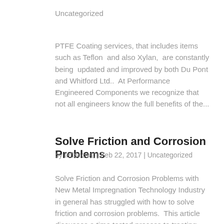Uncategorized
PTFE Coating services, that includes items such as Teflon  and also Xylan,  are constantly being  updated and improved by both Du Pont and Whitford Ltd..  At Performance Engineered Components we recognize that not all engineers know the full benefits of the...
Solve Friction and Corrosion Problems
by tefloncoat | Feb 22, 2017 | Uncategorized
Solve Friction and Corrosion Problems with New Metal Impregnation Technology Industry in general has struggled with how to solve friction and corrosion problems.  This article discusses a time tested process to treating metals, plastics and ceramics with the PEC 220...